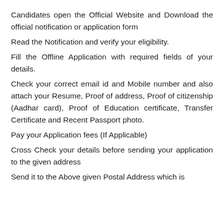Candidates open the Official Website and Download the official notification or application form
Read the Notification and verify your eligibility.
Fill the Offline Application with required fields of your details.
Check your correct email id and Mobile number and also attach your Resume, Proof of address, Proof of citizenship (Aadhar card), Proof of Education certificate, Transfer Certificate and Recent Passport photo.
Pay your Application fees (If Applicable)
Cross Check your details before sending your application to the given address
Send it to the Above given Postal Address which is